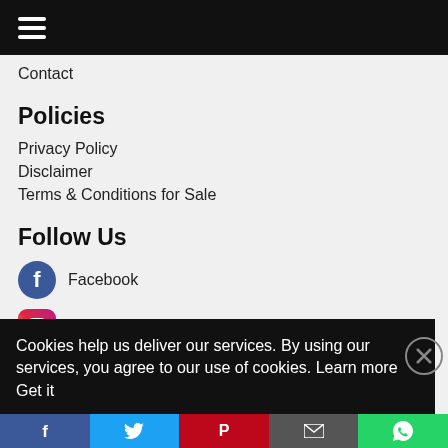☰ (hamburger menu icon)
Contact
Policies
Privacy Policy
Disclaimer
Terms & Conditions for Sale
Follow Us
Facebook
Instagram
Cookies help us deliver our services. By using our services, you agree to our use of cookies. Learn more   Get it
Social share bar: Facebook, Twitter, Pinterest, Email, WhatsApp